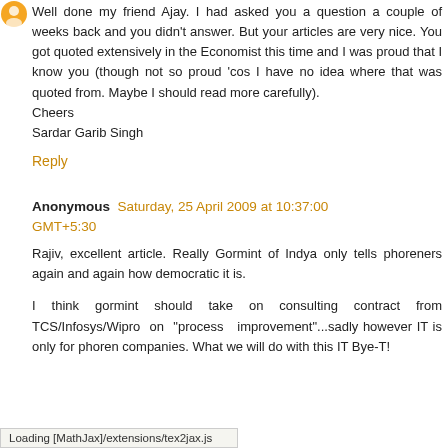Well done my friend Ajay. I had asked you a question a couple of weeks back and you didn't answer. But your articles are very nice. You got quoted extensively in the Economist this time and I was proud that I know you (though not so proud 'cos I have no idea where that was quoted from. Maybe I should read more carefully).
Cheers
Sardar Garib Singh
Reply
Anonymous Saturday, 25 April 2009 at 10:37:00 GMT+5:30
Rajiv, excellent article. Really Gormint of Indya only tells phoreners again and again how democratic it is.
I think gormint should take on consulting contract from TCS/Infosys/Wipro on "process improvement"...sadly however IT is only for phoren companies. What we will do with this IT Bye-T!
Loading [MathJax]/extensions/tex2jax.js